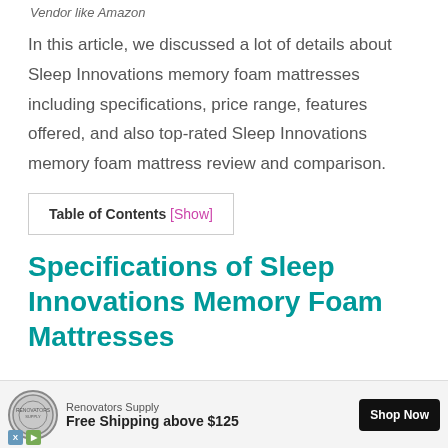Vendor like Amazon
In this article, we discussed a lot of details about Sleep Innovations memory foam mattresses including specifications, price range, features offered, and also top-rated Sleep Innovations memory foam mattress review and comparison.
| Table of Contents [Show] |
Specifications of Sleep Innovations Memory Foam Mattresses
[Figure (other): Advertisement banner for Renovators Supply showing logo, 'Free Shipping above $125' text, and 'Shop Now' button]